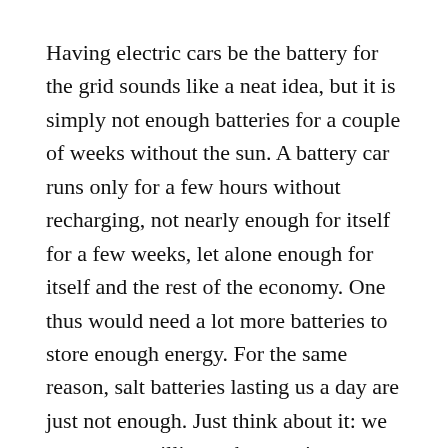Having electric cars be the battery for the grid sounds like a neat idea, but it is simply not enough batteries for a couple of weeks without the sun. A battery car runs only for a few hours without recharging, not nearly enough for itself for a few weeks, let alone enough for itself and the rest of the economy. One thus would need a lot more batteries to store enough energy. For the same reason, salt batteries lasting us a day are just not enough. Just think about it: we are not yet willing to have trains run only if its been sunny somewhere in the last 3 days! Reverse hydro at least has the potential of storing enough energy, but the capital costs are stupendous and you need the